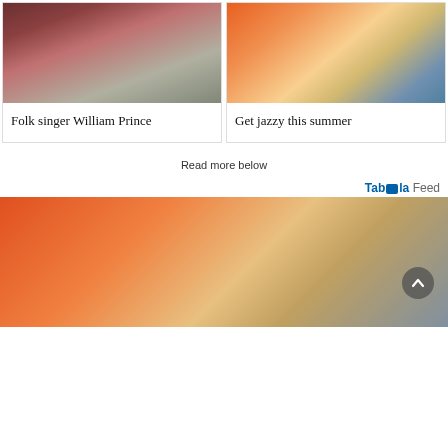[Figure (photo): Man in burgundy blazer standing in front of a sign reading PRINCE]
Folk singer William Prince
[Figure (photo): Person playing a saxophone with bokeh lights in background]
Get jazzy this summer
Read more below
Taboola Feed
[Figure (photo): Person playing a brass instrument with blurred warm-toned bokeh background, back-to-top button visible]